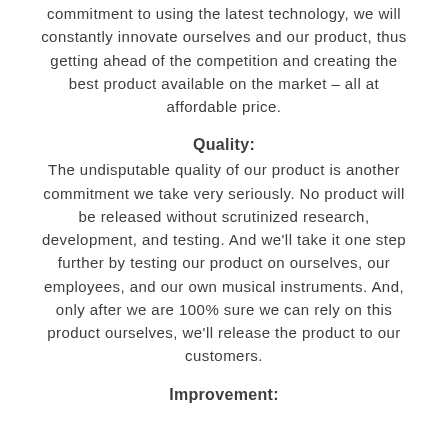commitment to using the latest technology, we will constantly innovate ourselves and our product, thus getting ahead of the competition and creating the best product available on the market – all at affordable price.
Quality:
The undisputable quality of our product is another commitment we take very seriously. No product will be released without scrutinized research, development, and testing. And we'll take it one step further by testing our product on ourselves, our employees, and our own musical instruments. And, only after we are 100% sure we can rely on this product ourselves, we'll release the product to our customers.
Improvement: